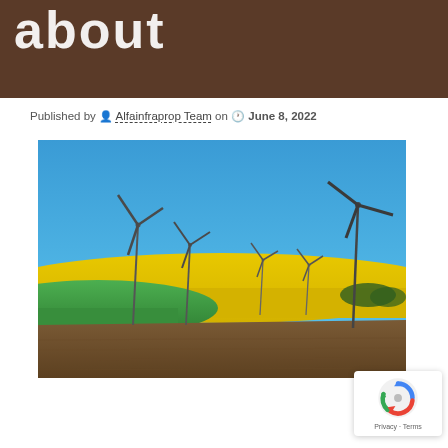about
Published by Alfainfraprop Team on June 8, 2022
[Figure (photo): Wind turbines standing in a landscape of green and yellow fields (rapeseed/canola) under a clear blue sky. Five wind turbines of varying sizes visible, with agricultural fields in foreground including brown plowed earth, green crops, and bright yellow flowering field.]
Privacy · Terms